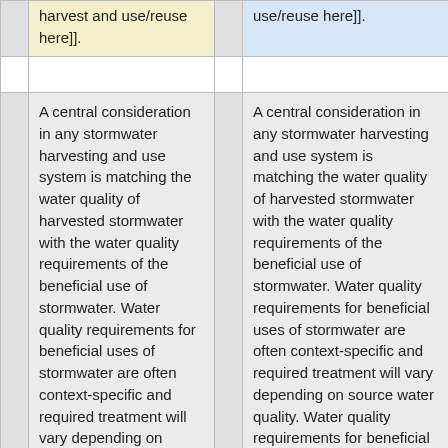harvest and use/reuse here]].
use/reuse here]].
A central consideration in any stormwater harvesting and use system is matching the water quality of harvested stormwater with the water quality requirements of the beneficial use of stormwater. Water quality requirements for beneficial uses of stormwater are often context-specific and required treatment will vary depending on source water quality. Water quality requirements for beneficial uses of stormwater are based on the risks posed to human health (i.e., health criteria) and/or to the environment. For some
A central consideration in any stormwater harvesting and use system is matching the water quality of harvested stormwater with the water quality requirements of the beneficial use of stormwater. Water quality requirements for beneficial uses of stormwater are often context-specific and required treatment will vary depending on source water quality. Water quality requirements for beneficial uses of stormwater are based on the risks posed to human health (i.e., health criteria) and/or to the environment. For some